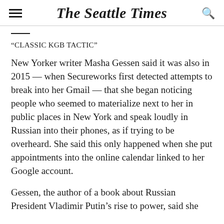The Seattle Times
“CLASSIC KGB TACTIC”
New Yorker writer Masha Gessen said it was also in 2015 — when Secureworks first detected attempts to break into her Gmail — that she began noticing people who seemed to materialize next to her in public places in New York and speak loudly in Russian into their phones, as if trying to be overheard. She said this only happened when she put appointments into the online calendar linked to her Google account.
Gessen, the author of a book about Russian President Vladimir Putin’s rise to power, said she